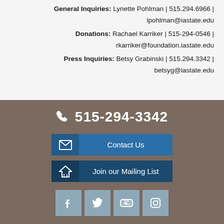General Inquiries: Lynette Pohlman | 515.294.6966 | lpohlman@iastate.edu
Donations: Rachael Karriker | 515-294-0546 | rkarriker@foundation.iastate.edu
Press Inquiries: Betsy Grabinski | 515.294.3342 | betsyg@iastate.edu
515-294-3342
Contact Us
Join our Mailing List